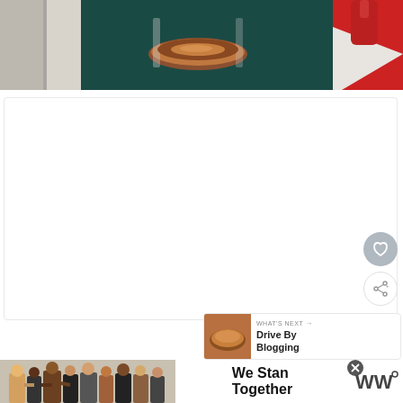[Figure (photo): Top portion of a photo showing a close-up of what appears to be a coffee drink in a glass on a dark teal table, with a red and white striped surface visible in the upper right, and a white object/cabinet on the left.]
[Figure (other): White empty card/content area below the photo]
[Figure (other): Heart/favorite button - circular gray button with heart icon]
[Figure (other): Share button - circular white button with share icon]
[Figure (other): WHAT'S NEXT card with thumbnail of food and text 'Drive By Blogging']
[Figure (other): Advertisement banner at the bottom with people standing together and text 'We Stand Together' with a close button and WW logo]